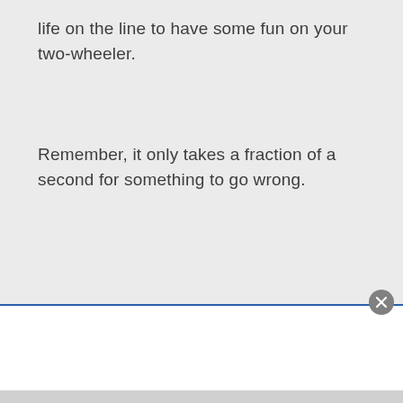life on the line to have some fun on your two-wheeler.
Remember, it only takes a fraction of a second for something to go wrong.